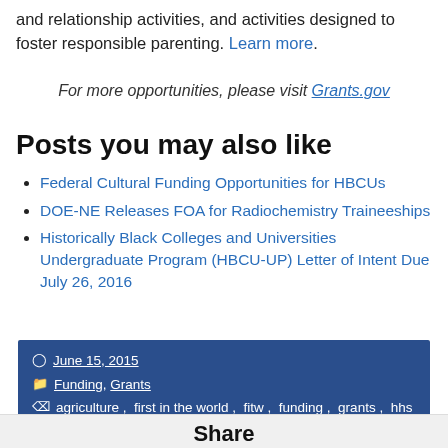and relationship activities, and activities designed to foster responsible parenting. Learn more.
For more opportunities, please visit Grants.gov
Posts you may also like
Federal Cultural Funding Opportunities for HBCUs
DOE-NE Releases FOA for Radiochemistry Traineeships
Historically Black Colleges and Universities Undergraduate Program (HBCU-UP) Letter of Intent Due July 26, 2016
June 15, 2015
Funding, Grants
agriculture, first in the world, fitw, funding, grants, hhs, USDA
Share